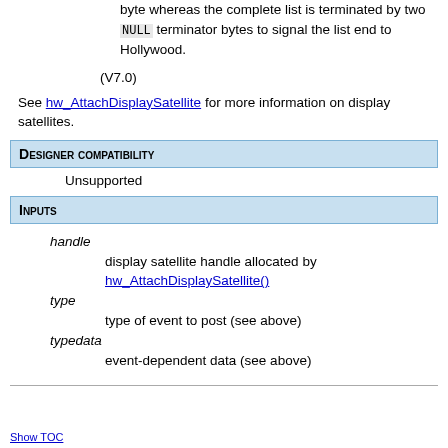byte whereas the complete list is terminated by two NULL terminator bytes to signal the list end to Hollywood.
(V7.0)
See hw_AttachDisplaySatellite for more information on display satellites.
Designer compatibility
Unsupported
Inputs
handle — display satellite handle allocated by hw_AttachDisplaySatellite()
type — type of event to post (see above)
typedata — event-dependent data (see above)
Show TOC